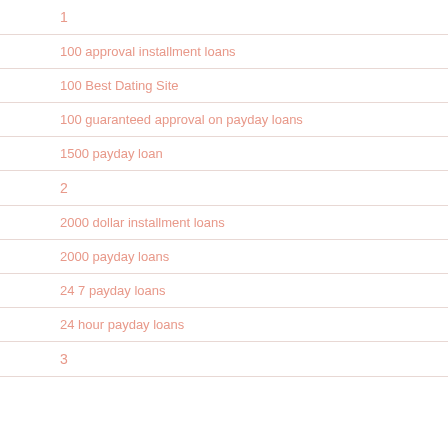1
100 approval installment loans
100 Best Dating Site
100 guaranteed approval on payday loans
1500 payday loan
2
2000 dollar installment loans
2000 payday loans
24 7 payday loans
24 hour payday loans
3